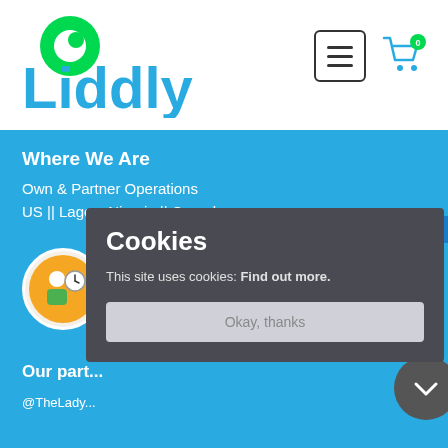[Figure (logo): Liddly logo with green circle icon and blue text]
[Figure (other): Hamburger menu button (three horizontal bars in a rounded rectangle)]
[Figure (other): Shopping cart icon with badge showing 0]
Where We Are
Own & Partner Operations
US || Lagos, Nigeria || Canada
USD
[Figure (illustration): Clock/customer service avatar in orange circle]
Cookies
This site uses cookies: Find out more.
Okay, thanks
Our part
@TheLady...